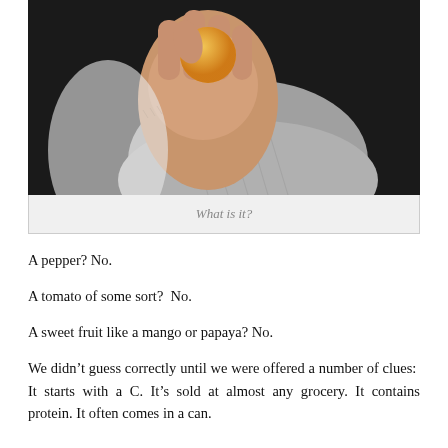[Figure (photo): A hand holding a small round orange/yellow fruit, with a person's midsection visible in the background wearing a grey shirt, dark background.]
What is it?
A pepper? No.
A tomato of some sort?  No.
A sweet fruit like a mango or papaya? No.
We didn’t guess correctly until we were offered a number of clues:  It starts with a C. It’s sold at almost any grocery. It contains protein. It often comes in a can.